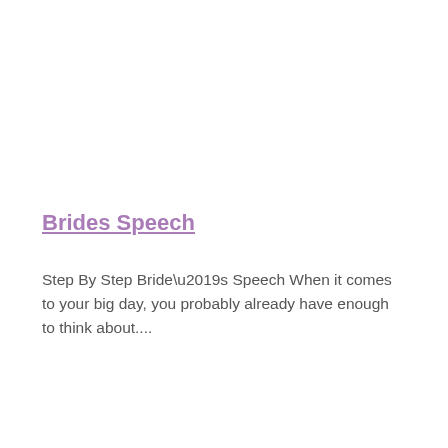Brides Speech
Step By Step Bride’s Speech When it comes to your big day, you probably already have enough to think about....